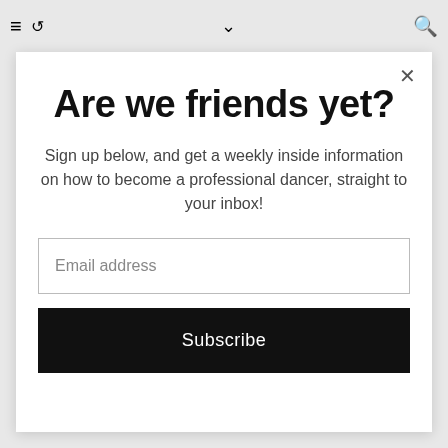≡  ↺   ∨   🔍
Are we friends yet?
Sign up below, and get a weekly inside information on how to become a professional dancer, straight to your inbox!
Email address
Subscribe
Joshua Tree